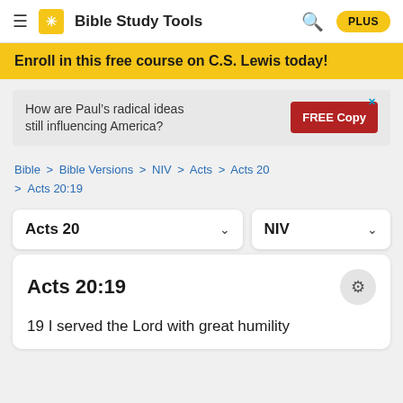Bible Study Tools  PLUS
Enroll in this free course on C.S. Lewis today!
[Figure (screenshot): Advertisement banner: 'How are Paul's radical ideas still influencing America?' with a red FREE Copy button]
Bible > Bible Versions > NIV > Acts > Acts 20 > Acts 20:19
Acts 20  v  NIV  v
Acts 20:19
19 I served the Lord with great humility